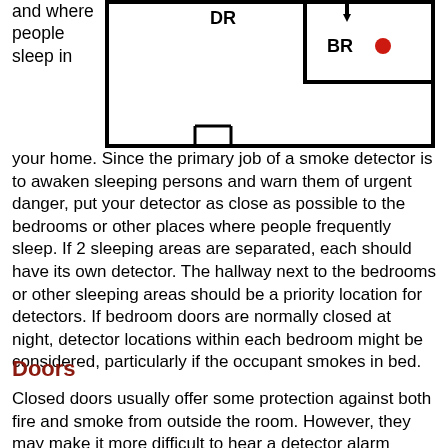and where people sleep in
[Figure (schematic): Floor plan schematic showing a dining room (DR) and bedroom (BR) with a red dot indicating smoke detector placement near the bedroom.]
your home. Since the primary job of a smoke detector is to awaken sleeping persons and warn them of urgent danger, put your detector as close as possible to the bedrooms or other places where people frequently sleep. If 2 sleeping areas are separated, each should have its own detector. The hallway next to the bedrooms or other sleeping areas should be a priority location for detectors. If bedroom doors are normally closed at night, detector locations within each bedroom might be considered, particularly if the occupant smokes in bed.
Doors
Closed doors usually offer some protection against both fire and smoke from outside the room. However, they may make it more difficult to hear a detector alarm outside the bedroom. More significantly, they may also